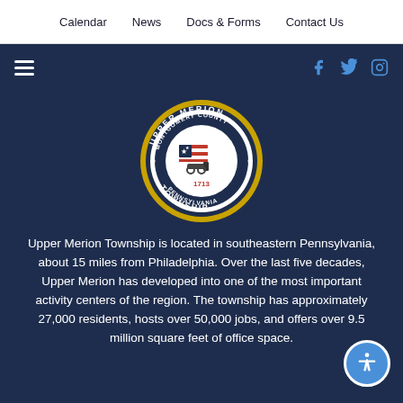Calendar   News   Docs & Forms   Contact Us
[Figure (logo): Upper Merion Township seal — circular seal with text 'UPPER MERION MONTGOMERY COUNTY PENNSYLVANIA TOWNSHIP 1713' and a cannon image in the center, gold and dark blue border]
Upper Merion Township is located in southeastern Pennsylvania, about 15 miles from Philadelphia. Over the last five decades, Upper Merion has developed into one of the most important activity centers of the region. The township has approximately 27,000 residents, hosts over 50,000 jobs, and offers over 9.5 million square feet of office space.